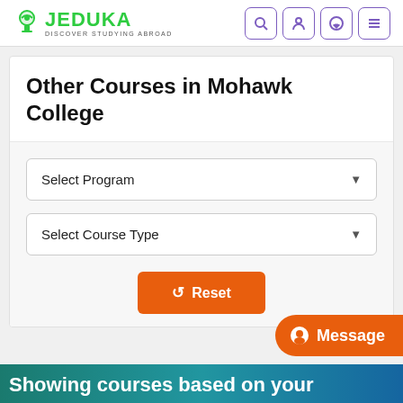[Figure (logo): Jeduka logo with green text and graduation cap icon, tagline 'Discover Studying Abroad']
[Figure (screenshot): Navigation icons: search, user, WhatsApp, hamburger menu — purple outlined buttons]
Other Courses in Mohawk College
[Figure (screenshot): Select Program dropdown]
[Figure (screenshot): Select Course Type dropdown]
[Figure (screenshot): Orange Reset button with refresh icon]
[Figure (screenshot): Orange Message chat button on right side]
Showing courses based on your